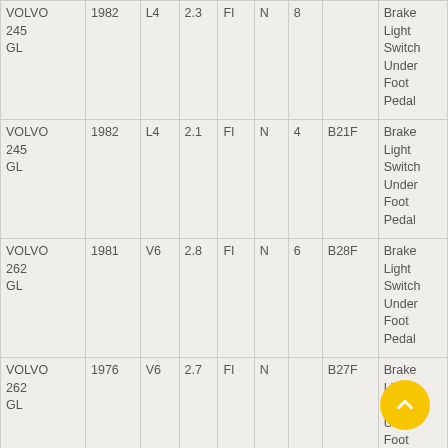| Make/Model | Year | Engine | Liters | Fuel | Trans | Cyl | Eng Code | Notes |
| --- | --- | --- | --- | --- | --- | --- | --- | --- |
| VOLVO 245 GL | 1982 | L4 | 2.3 | FI | N | 8 |  | Brake Light Switch Under Foot Pedal |
| VOLVO 245 GL | 1982 | L4 | 2.1 | FI | N | 4 | B21F | Brake Light Switch Under Foot Pedal |
| VOLVO 262 GL | 1981 | V6 | 2.8 | FI | N | 6 | B28F | Brake Light Switch Under Foot Pedal |
| VOLVO 262 GL | 1976 | V6 | 2.7 | FI | N |  | B27F | Brake Light Switch Under Foot Pedal |